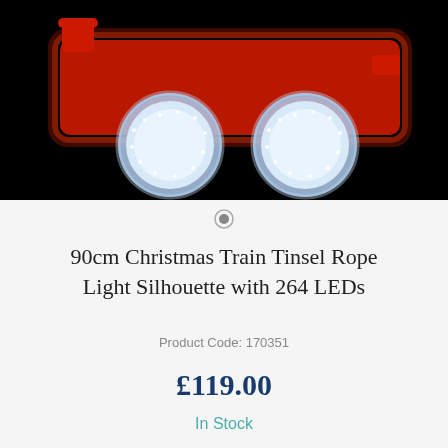[Figure (photo): A Christmas train silhouette decoration made of red tinsel rope lights with two large glowing white LED wheels/circles against a black background]
90cm Christmas Train Tinsel Rope Light Silhouette with 264 LEDs
Product Code: 170351
£119.00
In Stock